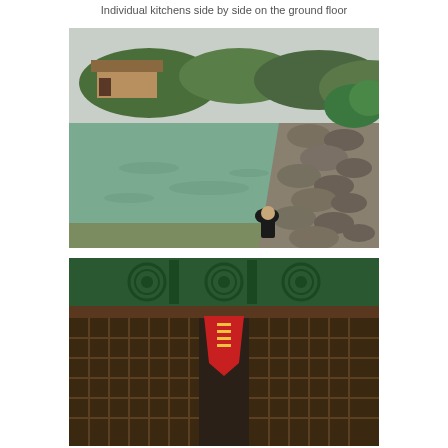Individual kitchens side by side on the ground floor
[Figure (photo): A river scene with green water, rocky bank on the right side, lush green trees and a traditional building in the background, and a person in dark clothing crouching at the water's edge collecting water]
[Figure (photo): Interior or exterior of a traditional Chinese building showing ornate wooden lattice work with a green decorative panel at the top featuring circular floral motifs, and a red decorative banner/plaque hanging centrally]